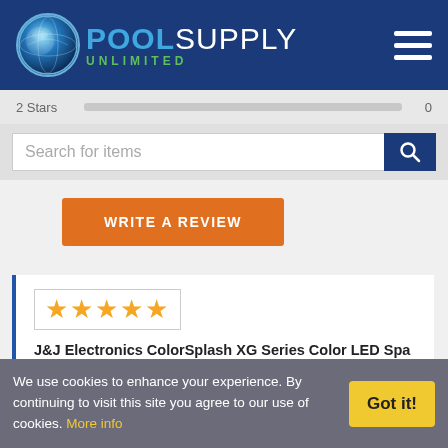[Figure (logo): Pool Supply Unlimited logo with blue globe icon and text on dark blue header background]
2 Stars | 0
Search for items
WRITE A REVIEW
[Figure (other): Five gold stars inside a bordered box indicating a 5-star review]
J&J Electronics ColorSplash XG Series Color LED Spa Light | 120V 30’ Cord
Awesome light...We really enjoy the colors and will be buying the same brand for our pool soon.
We use cookies to enhance your experience. By continuing to visit this site you agree to our use of cookies. More info
Got it!